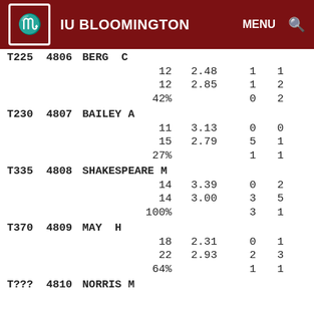IU BLOOMINGTON   MENU  🔍
| Code | ID | Name | Col3 | Col4 | Col5 | Col6 |
| --- | --- | --- | --- | --- | --- | --- |
| T225 | 4806 | BERG  C |  |  |  |  |
|  |  |  | 12 | 2.48 | 1 | 1 |
|  |  |  | 12 | 2.85 | 1 | 2 |
|  |  |  | 42% | 0 | 2 |  |
| T230 | 4807 | BAILEY A |  |  |  |  |
|  |  |  | 11 | 3.13 | 0 | 0 |
|  |  |  | 15 | 2.79 | 5 | 1 |
|  |  |  | 27% | 1 | 1 |  |
| T335 | 4808 | SHAKESPEARE M |  |  |  |  |
|  |  |  | 14 | 3.39 | 0 | 2 |
|  |  |  | 14 | 3.00 | 3 | 5 |
|  |  |  | 100% | 3 | 1 |  |
| T370 | 4809 | MAY  H |  |  |  |  |
|  |  |  | 18 | 2.31 | 0 | 1 |
|  |  |  | 22 | 2.93 | 2 | 3 |
|  |  |  | 64% | 1 | 1 |  |
| T??? | 4810 | NORRIS M |  |  |  |  |